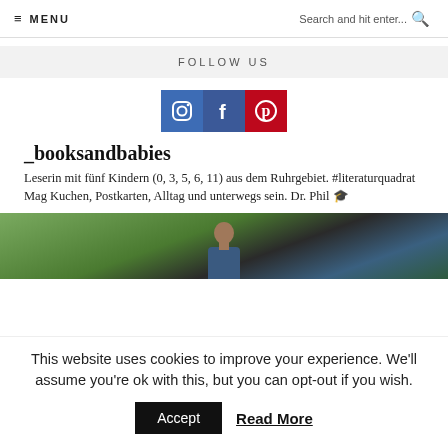≡ MENU   Search and hit enter... 🔍
FOLLOW US
[Figure (other): Three social media icons: Instagram (blue), Facebook (dark blue), Pinterest (red)]
_booksandbabies
Leserin mit fünf Kindern (0, 3, 5, 6, 11) aus dem Ruhrgebiet. #literaturquadrat Mag Kuchen, Postkarten, Alltag und unterwegs sein. Dr. Phil 🎓
[Figure (photo): A person in a blue t-shirt against a green leafy background, photo strip partially visible]
This website uses cookies to improve your experience. We'll assume you're ok with this, but you can opt-out if you wish.
Accept   Read More